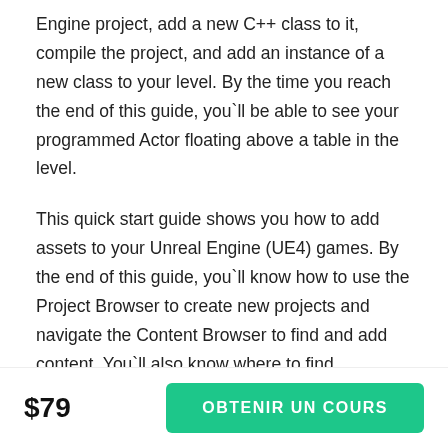Engine project, add a new C++ class to it, compile the project, and add an instance of a new class to your level. By the time you reach the end of this guide, you`ll be able to see your programmed Actor floating above a table in the level.
This quick start guide shows you how to add assets to your Unreal Engine (UE4) games. By the end of this guide, you`ll know how to use the Project Browser to create new projects and navigate the Content Browser to find and add content. You`ll also know where to find information on the FBX Content Pipeline while learning how to use the Material Editor to modify
$79
OBTENIR UN COURS